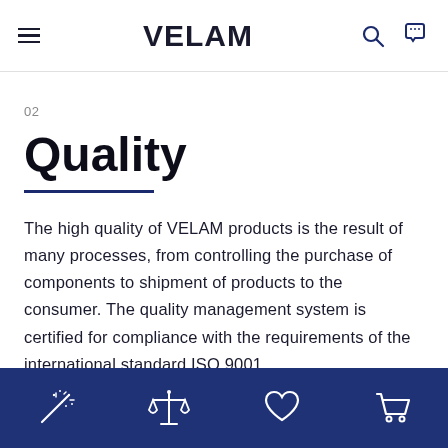VELAM
02
Quality
The high quality of VELAM products is the result of many processes, from controlling the purchase of components to shipment of products to the consumer. The quality management system is certified for compliance with the requirements of the international standard ISO 9001.
Navigation icons: magic wand, scales, heart, shopping cart